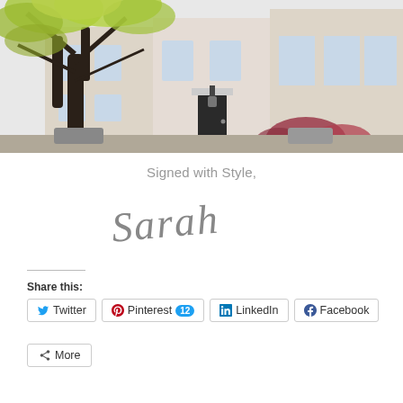[Figure (photo): Photograph of a row of townhouses/Georgian-style buildings with a large tree with spring green foliage in the foreground, dark door with wreath, and red/pink flowering shrubs]
Signed with Style,
[Figure (illustration): Handwritten signature reading 'Sarah' in cursive script]
Share this:
Twitter | Pinterest 12 | LinkedIn | Facebook | More